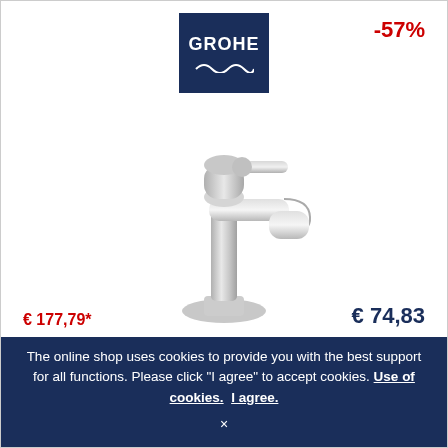[Figure (logo): GROHE brand logo on dark navy blue background with white text and wave graphic]
-57%
[Figure (photo): Chrome bathroom faucet / tap - GROHE Eurostyle Cosmopolitan XS-Size single-lever basin mixer in chrome finish]
GROHE Eurostyle Cosmopolitan - Válvula XS-Size without waste set crômio
€ 177,79*
€ 74,83
The online shop uses cookies to provide you with the best support for all functions. Please click "I agree" to accept cookies. Use of cookies.  I agree.
×
Artik. nr...